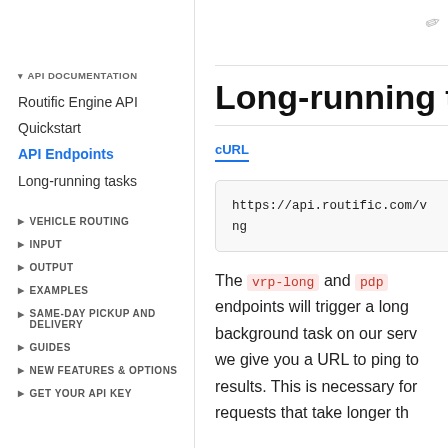API DOCUMENTATION
Routific Engine API
Quickstart
API Endpoints
Long-running tasks
VEHICLE ROUTING
INPUT
OUTPUT
EXAMPLES
SAME-DAY PICKUP AND DELIVERY
GUIDES
NEW FEATURES & OPTIONS
GET YOUR API KEY
Long-running task
cURL
https://api.routific.com/v
ng
The vrp-long and pdp endpoints will trigger a long background task on our server; we give you a URL to ping to results. This is necessary for requests that take longer th